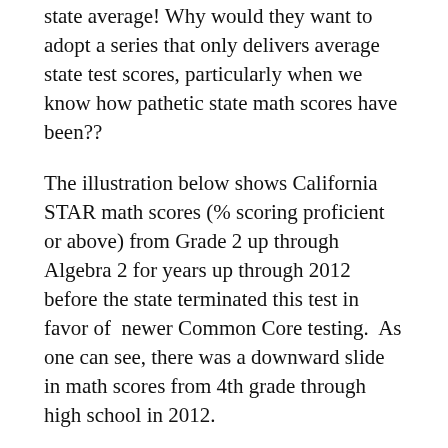state average!  Why would they want to adopt a series that only delivers average state test scores, particularly when we know how pathetic state math scores have been??
The illustration below shows California STAR math scores (% scoring proficient or above) from Grade 2 up through Algebra 2 for years up through 2012 before the state terminated this test in favor of  newer Common Core testing.  As one can see, there was a downward slide in math scores from 4th grade through high school in 2012.
Passing rates of 35%, 32%, and 34% are not benchmarks that I would want to use for marketing any product that I developed!!! Why